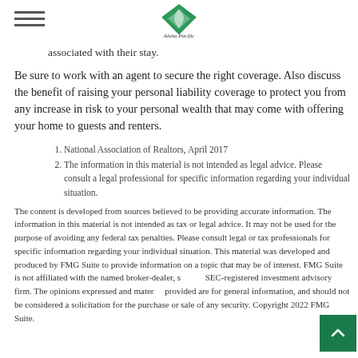Aloha Pacific Financial Group
associated with their stay.
Be sure to work with an agent to secure the right coverage. Also discuss the benefit of raising your personal liability coverage to protect you from any increase in risk to your personal wealth that may come with offering your home to guests and renters.
National Association of Realtors, April 2017
The information in this material is not intended as legal advice. Please consult a legal professional for specific information regarding your individual situation.
The content is developed from sources believed to be providing accurate information. The information in this material is not intended as tax or legal advice. It may not be used for the purpose of avoiding any federal tax penalties. Please consult legal or tax professionals for specific information regarding your individual situation. This material was developed and produced by FMG Suite to provide information on a topic that may be of interest. FMG Suite is not affiliated with the named broker-dealer, state or SEC-registered investment advisory firm. The opinions expressed and material provided are for general information, and should not be considered a solicitation for the purchase or sale of any security. Copyright 2022 FMG Suite.